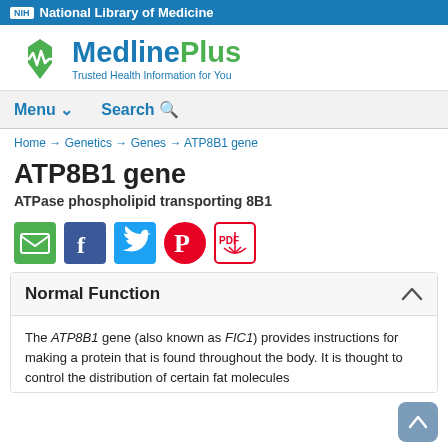NIH National Library of Medicine
[Figure (logo): MedlinePlus logo with tagline 'Trusted Health Information for You']
Menu  Search
Home → Genetics → Genes → ATP8B1 gene
ATP8B1 gene
ATPase phospholipid transporting 8B1
[Figure (infographic): Social sharing icons: Email (green), Facebook (blue), Twitter (light blue), Pinterest (red circle), PDF (red outline)]
Normal Function
The ATP8B1 gene (also known as FIC1) provides instructions for making a protein that is found throughout the body. It is thought to control the distribution of certain fat molecules